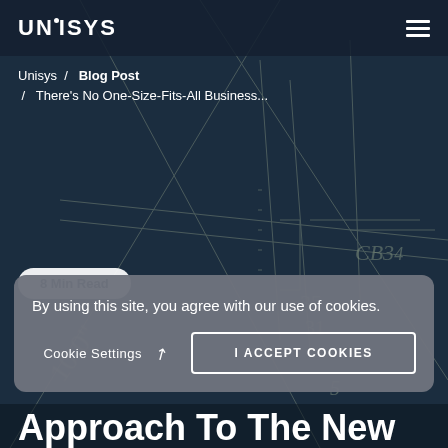[Figure (screenshot): Unisys website screenshot showing a blog post page header with dark navy blueprint/engineering drawing background. Navigation bar at top with Unisys logo and hamburger menu. Breadcrumb navigation shows Unisys / Blog Post / There's No One-Size-Fits-All Business... A '8 Min Read' badge is visible. A cookie consent banner overlays the lower portion. Partial heading 'Approach To The New' is visible at the bottom.]
UNISYS
Unisys  /  Blog Post  /  There's No One-Size-Fits-All Business...
8 Min Read
By using this site, you agree with our use of cookies.
Cookie Settings ↗   I ACCEPT COOKIES
Approach To The New